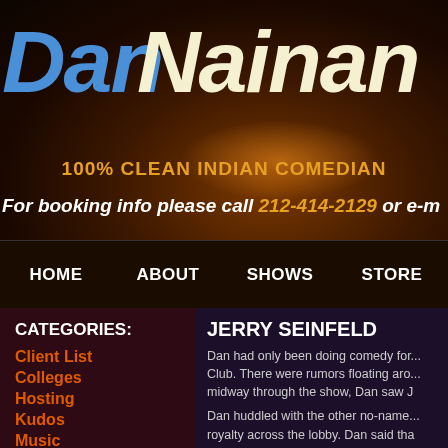DanNainan
100% CLEAN INDIAN COMEDIAN
For booking info please call 212-414-2129 or e-m
HOME   ABOUT   SHOWS   STORE
CATEGORIES:
Client List
Colleges
Hosting
Kudos
Music
JERRY SEINFELD
Dan had only been doing comedy for... Club. There were rumors floating aro... midway through the show, Dan saw J
Dan huddled with the other no-name... royalty across the lobby. Dan said tha